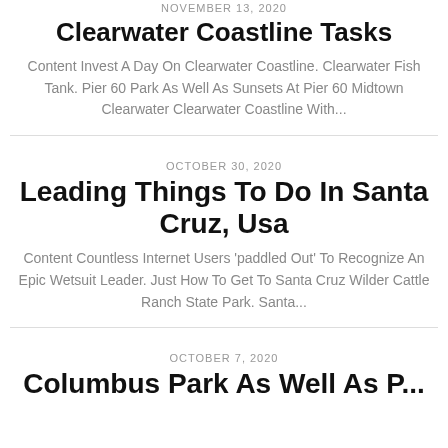NOVEMBER 13, 2020
Clearwater Coastline Tasks
Content Invest A Day On Clearwater Coastline. Clearwater Fish Tank. Pier 60 Park As Well As Sunsets At Pier 60 Midtown Clearwater Clearwater Coastline With...
OCTOBER 30, 2020
Leading Things To Do In Santa Cruz, Usa
Content Countless Internet Users 'paddled Out' To Recognize An Epic Wetsuit Leader. Just How To Get To Santa Cruz Wilder Cattle Ranch State Park. Santa...
OCTOBER 7, 2020
Columbus Park As Well As P...